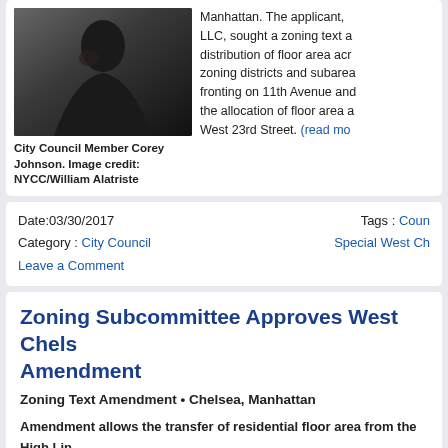[Figure (photo): Photo of City Council Member Corey Johnson, a man in a suit with hand near face]
City Council Member Corey Johnson. Image credit: NYCC/William Alatriste
Manhattan. The applicant, LLC, sought a zoning text a distribution of floor area acr zoning districts and subarea fronting on 11th Avenue an the allocation of floor area a West 23rd Street. (read mo
Date:03/30/2017
Category : City Council
Leave a Comment
Tags : Coun Special West Ch
Zoning Subcommittee Approves West Chels Amendment
Zoning Text Amendment • Chelsea, Manhattan
Amendment allows the transfer of residential floor area from the High Lin 2015 the City Council Subcommittee on Zoning and Franchises approved an a West Chelsea District zoning text to allow a transfer of residential floor area fro Corridor subdistrict. The applicant, 22-23 Corp c/o Park It Management, soug transfer residential floor area from its property at 510-512 West 23rd Street, wh would only permit transfer of the property's commercial floor area.
(read more…)